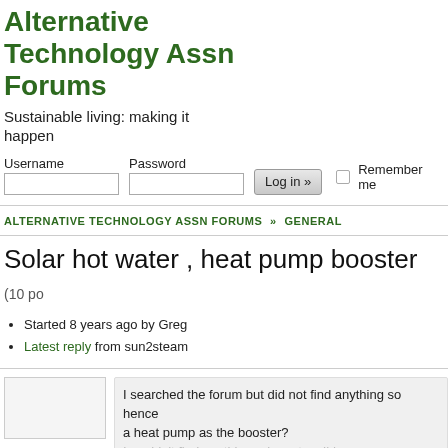Alternative Technology Assn Forums
Sustainable living: making it happen
[Figure (screenshot): Login form with Username and Password fields, Log in button, and Remember me checkbox]
ALTERNATIVE TECHNOLOGY ASSN FORUMS » GENERAL
Solar hot water , heat pump booster (10 posts)
Started 8 years ago by Greg
Latest reply from sun2steam
I searched the forum but did not find anything so hence a heat pump as the booster?